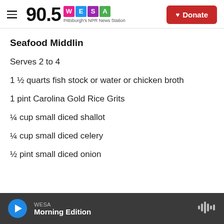90.5 WESA Pittsburgh's NPR News Station | Donate
Seafood Middlin
Serves 2 to 4
1 ½ quarts fish stock or water or chicken broth
1 pint Carolina Gold Rice Grits
¼ cup small diced shallot
¼ cup small diced celery
½ pint small diced onion
WESA Morning Edition